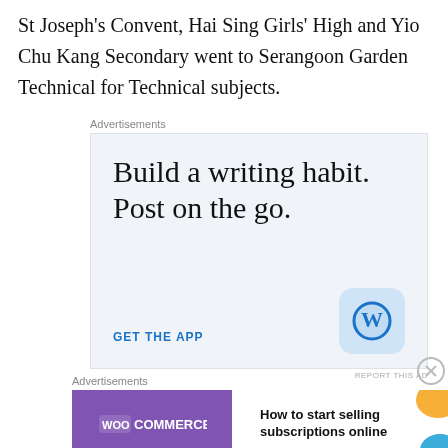St Joseph's Convent, Hai Sing Girls' High and Yio Chu Kang Secondary went to Serangoon Garden Technical for Technical subjects.
Advertisements
[Figure (screenshot): WordPress advertisement: 'Build a writing habit. Post on the go.' with GET THE APP call to action and WordPress logo icon]
[Figure (screenshot): WooCommerce advertisement: 'How to start selling subscriptions online' with purple WooCommerce logo and colorful blob shapes]